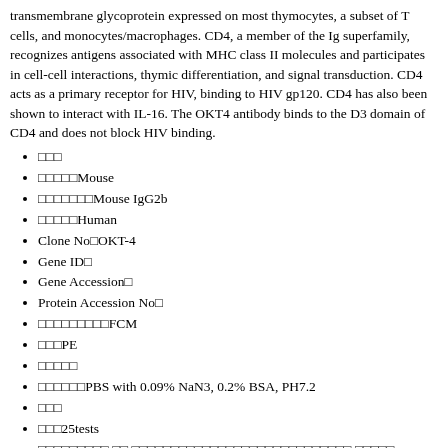transmembrane glycoprotein expressed on most thymocytes, a subset of T cells, and monocytes/macrophages. CD4, a member of the Ig superfamily, recognizes antigens associated with MHC class II molecules and participates in cell-cell interactions, thymic differentiation, and signal transduction. CD4 acts as a primary receptor for HIV, binding to HIV gp120. CD4 has also been shown to interact with IL-16. The OKT4 antibody binds to the D3 domain of CD4 and does not block HIV binding.
□□□
□□□□□Mouse
□□□□□□□Mouse IgG2b
□□□□□Human
Clone No□OKT-4
Gene ID□
Gene Accession□
Protein Accession No□
□□□□□□□□□FCM
□□□PE
□□□□□
□□□□□□PBS with 0.09% NaN3, 0.2% BSA, PH7.2
□□□
□□□25tests
□□□□□□□□□ □□ □□□□□□□□□□□□□□□□□□□□□□□□□□□□ □□□□□ Elabscience□□ □□□□□□□ □□□□□□□□□□□□□□□□□□